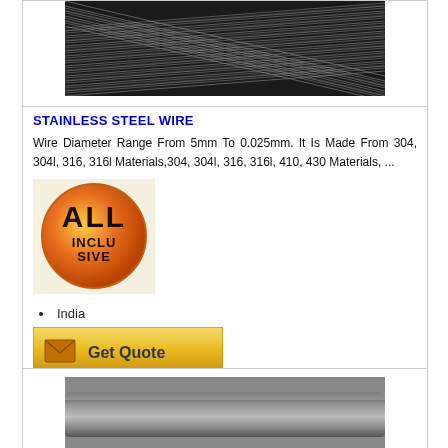[Figure (photo): Close-up photo of stainless steel wire coils showing metallic sheen and fine wire strands]
STAINLESS STEEL WIRE
Wire Diameter Range From 5mm To 0.025mm. It Is Made From 304, 304l, 316, 316l Materials,304, 304l, 316, 316l, 410, 430 Materials, ...
[Figure (logo): All Inclusive orange circular logo with stylized text]
India
[Figure (other): Get Quote button with envelope icon on golden/amber background]
[Figure (photo): Partial photo of a metal rod or steel bar product at bottom of page]